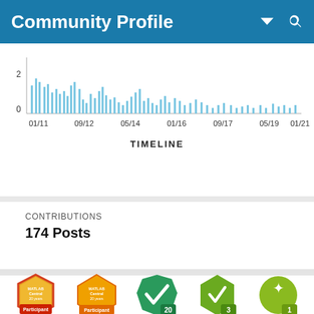Community Profile
[Figure (bar-chart): Bar chart showing activity timeline from 01/11 to 01/21 with light blue bars representing activity counts, y-axis shows 0 and 2]
CONTRIBUTIONS
174 Posts
[Figure (illustration): Row of achievement badges: two red/orange MATLAB Central 20 years Participant badges, a green checkmark badge with 20, a green badge with 3, and a green puzzle badge with 1]
[Figure (illustration): Row of achievement badges: purple microphone oval badge, purple network/graph speech bubble badge, teal code speech bubble badge, red hexagon download badge with 30, green octagon chat badge with ellipsis]
[Figure (illustration): Partial row of badges at bottom: orange badge and teal badge partially visible]